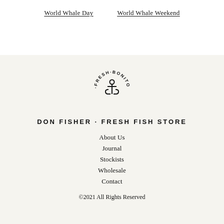World Whale Day    World Whale Weekend
[Figure (logo): Circular logo with text 'FRESH BONITO' around the outside and an anchor icon in the center]
DON FISHER · FRESH FISH STORE
About Us
Journal
Stockists
Wholesale
Contact
©2021 All Rights Reserved